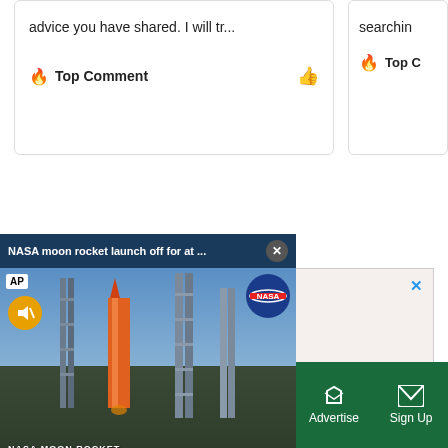advice you have shared. I will tr...
Top Comment
searchin
Top C
[Figure (screenshot): Advertisement banner with text: Lose the trolls. Keep the comments.]
[Figure (screenshot): Video overlay showing NASA moon rocket launch with AP and NASA logos, title: NASA moon rocket launch off for at ...]
Sections | NY Edition | Philly | Games | Advertise | Sign Up